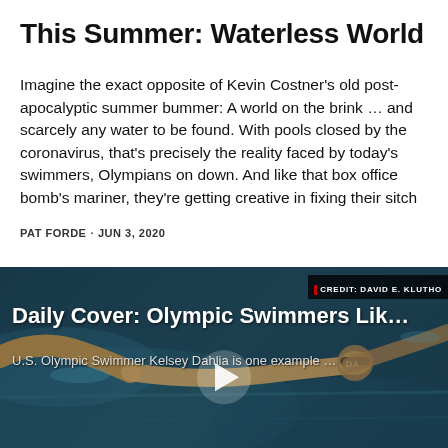This Summer: Waterless World
Imagine the exact opposite of Kevin Costner's old post-apocalyptic summer bummer: A world on the brink … and scarcely any water to be found. With pools closed by the coronavirus, that's precisely the reality faced by today's swimmers, Olympians on down. And like that box office bomb's mariner, they're getting creative in fixing their sitch
PAT FORDE · JUN 3, 2020
[Figure (photo): Video thumbnail showing U.S. Olympic swimmer Kelsey Dahlia swimming in a pool, with overlay text 'Daily Cover: Olympic Swimmers Lik...' and subtitle 'U.S. Olympic Swimmer Kelsey Dahlia is one example ...' along with a play button. Credit: David E. Klutho.]